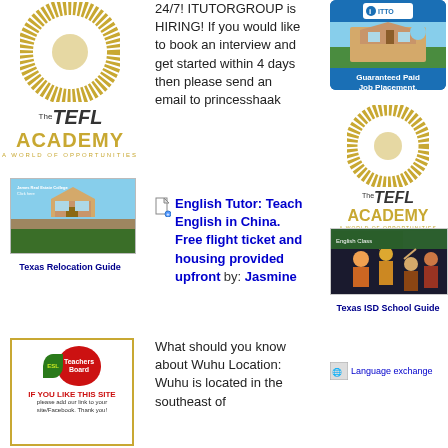[Figure (logo): The TEFL Academy logo with circular gold ring and text 'The TEFL Academy - A World of Opportunities']
[Figure (photo): Texas Relocation Guide - photo of a house with blue sky]
Texas Relocation Guide
[Figure (logo): ESL Teachers Board logo - IF YOU LIKE THIS SITE please add our link to your site/Facebook. Thank you!]
24/7! ITUTORGROUP is HIRING! If you would like to book an interview and get started within 4 days then please send an email to princesshaak
English Tutor: Teach English in China. Free flight ticket and housing provided upfront by: Jasmine
What should you know about Wuhu Location: Wuhu is located in the southeast of
[Figure (photo): TEFL Course in Mexico - Guaranteed Paid Job Placement - Call TOLL FREE advertisement]
[Figure (logo): The TEFL Academy logo - A World of Opportunities (right column)]
[Figure (photo): Classroom photo with students raising hands and teacher]
Texas ISD School Guide
Language exchange